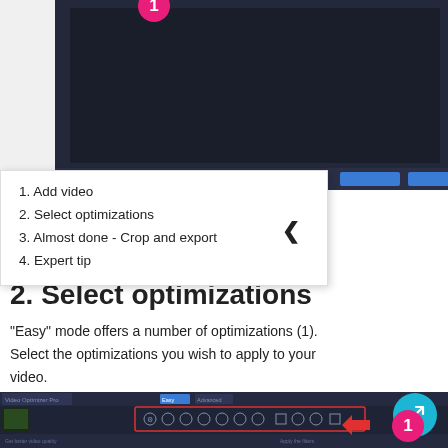[Figure (screenshot): Dark software interface screenshot with a pink/red badge labeled '1' at the top center, showing a video optimizer application with dark background and some UI controls visible at the bottom including blue buttons.]
1. Add video
2. Select optimizations
3. Almost done - Crop and export
4. Expert tip
2. Select optimizations
"Easy" mode offers a number of optimizations (1). Select the optimizations you wish to apply to your video.
[Figure (screenshot): Screenshot of Video Optimizer Pro software showing Easy/Advanced mode tabs and a row of optimization icons in a red-bordered toolbar, with a pink badge '1' and a red arrow pointing to the toolbar row.]